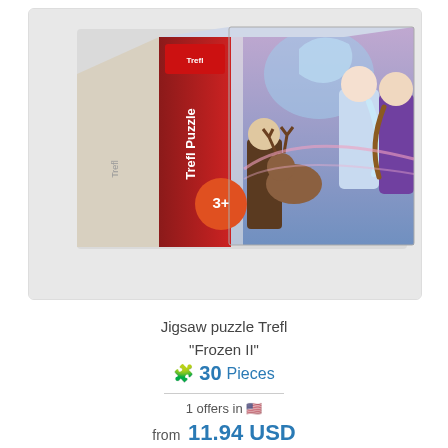[Figure (photo): Product photo of a Trefl puzzle box for 'Frozen II' featuring Elsa, Anna, Kristoff, and Sven on the cover. The box shows '3+' age rating and 'Trefl Puzzle' branding on the side.]
Jigsaw puzzle Trefl
"Frozen II"
🧩 30 Pieces
1 offers in 🇺🇸
from 11.94 USD